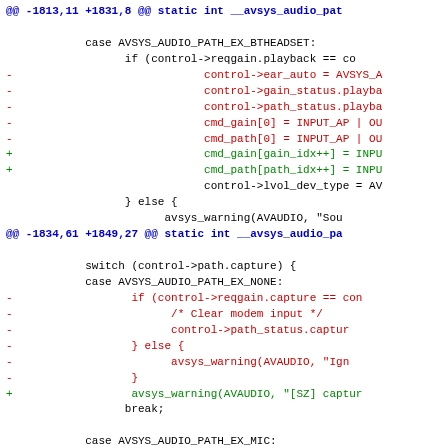[Figure (screenshot): A unified diff / code patch view showing changes to a C source file involving avsys audio path functions. Lines are shown in black (context), red (removed lines prefixed with -), and blue/cyan (hunk headers prefixed with @@). Added lines are shown in green (prefixed with +).]